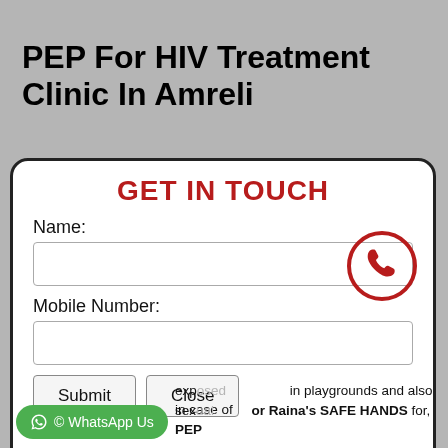PEP For HIV Treatment Clinic In Amreli
[Figure (screenshot): A contact form modal dialog with title 'GET IN TOUCH', fields for Name and Mobile Number, a phone icon, and Submit/Close buttons. Below is a WhatsApp Us button (green) and partial text about playgrounds and Raina's SAFE HANDS for PEP.]
in playgrounds and also in case of sex... or Raina's SAFE HANDS for, PEP